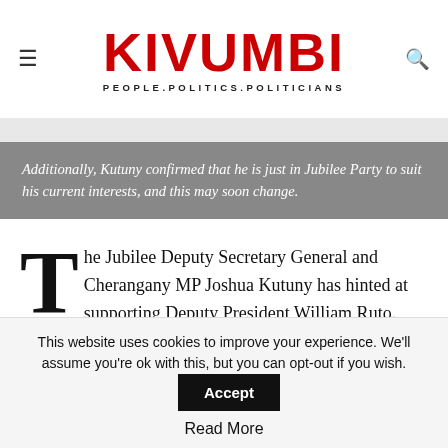KIVUMBI — PEOPLE.POLITICS.POLITICIANS
Additionally, Kutuny confirmed that he is just in Jubilee Party to suit his current interests, and this may soon change.
The Jubilee Deputy Secretary General and Cherangany MP Joshua Kutuny has hinted at supporting Deputy President William Ruto.
This website uses cookies to improve your experience. We'll assume you're ok with this, but you can opt-out if you wish.
Accept
Read More